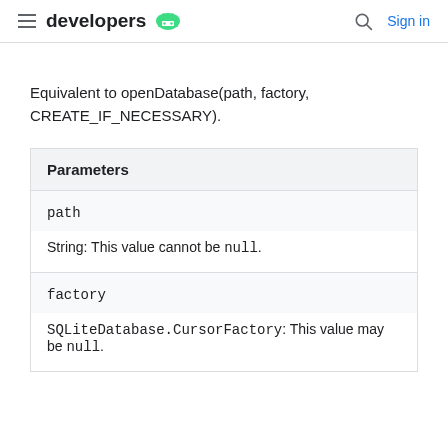developers [android logo]  [search]  Sign in
Equivalent to openDatabase(path, factory, CREATE_IF_NECESSARY).
| Parameters |
| --- |
| path |  |
| String: This value cannot be null. |  |
| factory |  |
| SQLiteDatabase.CursorFactory: This value may be null. |  |